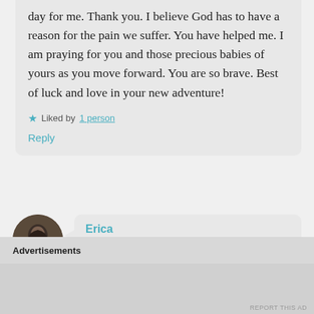day for me. Thank you. I believe God has to have a reason for the pain we suffer. You have helped me. I am praying for you and those precious babies of yours as you move forward. You are so brave. Best of luck and love in your new adventure!
★ Liked by 1 person
Reply
[Figure (photo): Circular avatar photo of a person with dark hair]
Erica
August 3, 2017 at 4:52 pm
Advertisements
REPORT THIS AD